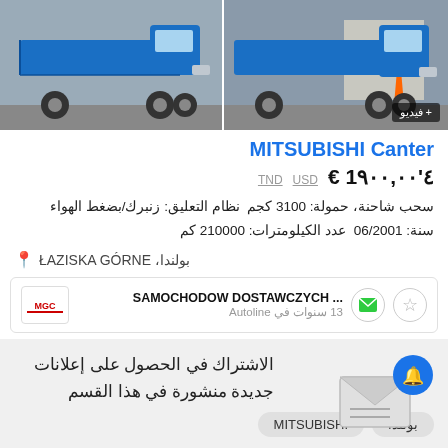[Figure (photo): Two blue Mitsubishi Canter flatbed trucks shown side by side. Right image has a video badge overlay.]
MITSUBISHI Canter
€ 14'900,00  USD  TND
سحب شاحنة، حمولة: 3100 كجم  نظام التعليق: زنبرك/بضغط الهواء
سنة: 06/2001  عدد الكيلومترات: 210000 كم
📍 بولندا، ŁAZISKA GÓRNE
SAMOCHODOW DOSTAWCZYCH ...
13 سنوات في Autoline
الاشتراك في الحصول على إعلانات جديدة منشورة في هذا القسم
MITSUBISHI  بولندا